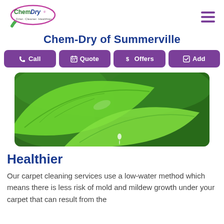[Figure (logo): Chem-Dry logo with green swoosh and oval shape, tagline 'Drier. Cleaner. Healthier.']
Chem-Dry of Summerville
[Figure (infographic): Four purple buttons: Call, Quote, Offers, Add]
[Figure (photo): Close-up photo of bright green leaves with water droplet falling, blurred green background]
Healthier
Our carpet cleaning services use a low-water method which means there is less risk of mold and mildew growth under your carpet that can result from the